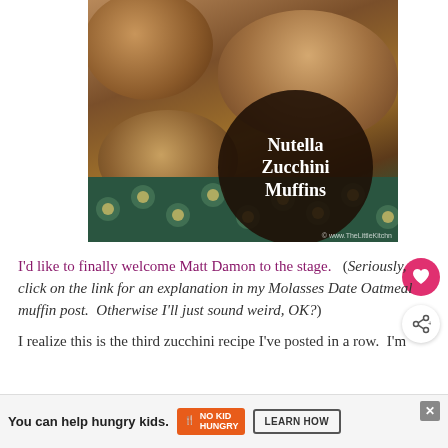[Figure (photo): Photo of Nutella Zucchini Muffins on a floral plate. A dark circular badge overlays the muffins with white bold text reading 'Nutella Zucchini Muffins'.]
I'd like to finally welcome Matt Damon to the stage.  (Seriously, click on the link for an explanation in my Molasses Date Oatmeal muffin post.  Otherwise I'll just sound weird, OK?)
I realize this is the third zucchini recipe I've posted in a row.  I'm
[Figure (infographic): Advertisement banner: 'You can help hungry kids.' with No Kid Hungry logo and a 'LEARN HOW' button. A close (X) button in top right corner.]